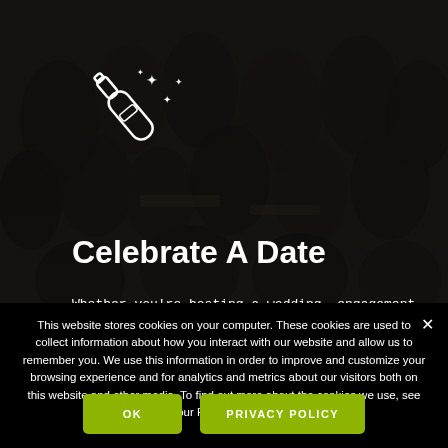[Figure (photo): Dark crowd gathering/event photo used as background image with overlay. People visible at tables in a venue setting.]
Celebrate A Date
Whether you’re hosting a wedding, engagement party or bridal shower; an art show, birthday or company meeting, Artscape Venues features one-of-a-kind eclectic spaces
This website stores cookies on your computer. These cookies are used to collect information about how you interact with our website and allow us to remember you. We use this information in order to improve and customize your browsing experience and for analytics and metrics about our visitors both on this website and other media. To find out more about the cookies we use, see our Privacy Policy.
OK
PRIVACY POLICY